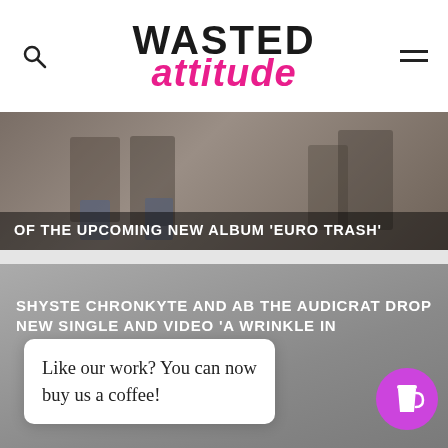WASTED ATTITUDE
[Figure (photo): Photo showing people, partially visible, dark overlay with text overlay reading 'OF THE UPCOMING NEW ALBUM EURO TRASH']
OF THE UPCOMING NEW ALBUM 'EURO TRASH'
[Figure (photo): Dark grey card with text overlay for Shyste Chronkyte article]
SHYSTE CHRONKYTE AND AB THE AUDICRAT DROP NEW SINGLE AND VIDEO 'A WRINKLE IN
Like our work? You can now buy us a coffee!